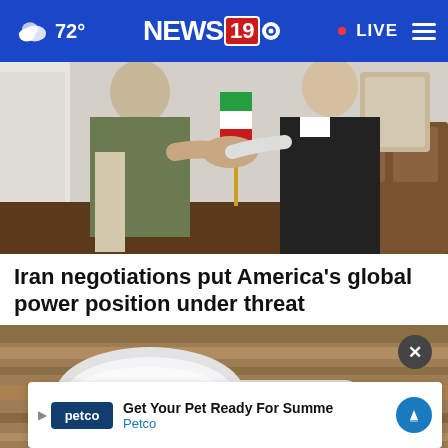72° NEWS19 LIVE
[Figure (photo): Two people shaking hands in front of a partial Iranian flag, in an indoor setting with wooden furniture]
Iran negotiations put America's global power position under threat
[Figure (photo): Close-up of a measuring scoop filled with white powder on a wooden surface]
Get Your Pet Ready For Summe Petco